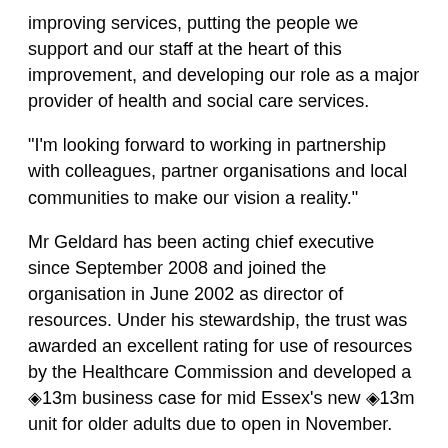improving services, putting the people we support and our staff at the heart of this improvement, and developing our role as a major provider of health and social care services.
"I'm looking forward to working in partnership with colleagues, partner organisations and local communities to make our vision a reality."
Mr Geldard has been acting chief executive since September 2008 and joined the organisation in June 2002 as director of resources. Under his stewardship, the trust was awarded an excellent rating for use of resources by the Healthcare Commission and developed a ◈13m business case for mid Essex's new ◈13m unit for older adults due to open in November.
His career includes senior management positions at Surrey and Sussex Healthcare NHS Trust and Brighton Healthcare NHS Trust. As director of finance and